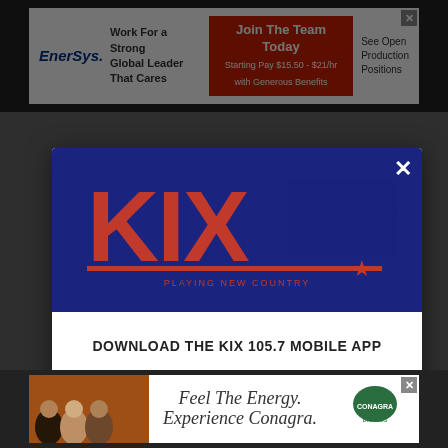[Figure (screenshot): Top banner advertisement for EnerSys: 'Work For a Strong Global Leader That Cares' with 'Join The Team Today, Starting Pay $15.50 - $21/hr with Generous Benefits' and 'See Open Production Positions']
[Figure (logo): KIX 105.7 radio station logo — bold red KIX lettering and 105.7 in blue/red on dark navy background with tagline]
DOWNLOAD THE KIX 105.7 MOBILE APP
GET OUR FREE MOBILE APP
Also listen on: amazon alexa
[Figure (screenshot): Bottom banner advertisement for Conagra Brands: 'Feel The Energy. Experience Conagra.' with people and Conagra Brands logo]